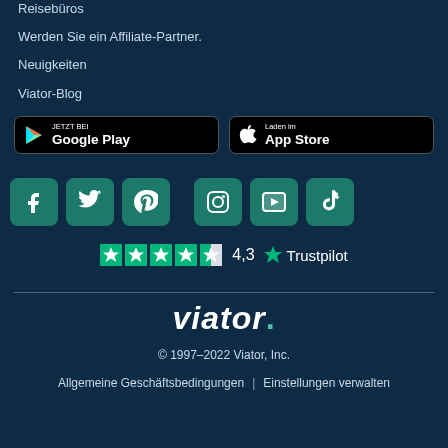Reisebüros
Werden Sie ein Affiliate-Partner.
Neuigkeiten
Viator-Blog
[Figure (other): Google Play store badge with Google Play triangle icon and text 'JETZT BEI Google Play']
[Figure (other): Apple App Store badge with Apple logo and text 'Laden im App Store']
[Figure (other): Social media icons row: Facebook, Twitter, Pinterest, Instagram, YouTube, TikTok — each in teal rounded square]
[Figure (other): Trustpilot rating: 4.3 stars out of 5 with Trustpilot logo]
[Figure (logo): Viator wordmark logo in white]
© 1997–2022 Viator, Inc.
Allgemeine Geschäftsbedingungen | Einstellungen verwalten